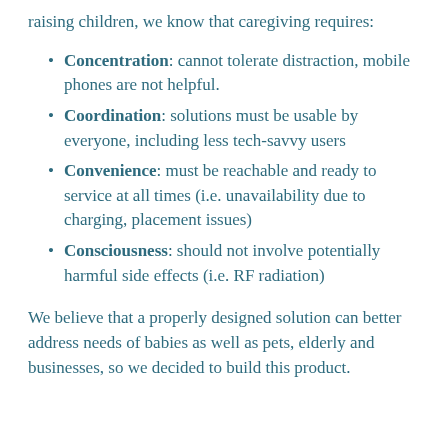raising children, we know that caregiving requires:
Concentration: cannot tolerate distraction, mobile phones are not helpful.
Coordination: solutions must be usable by everyone, including less tech-savvy users
Convenience: must be reachable and ready to service at all times (i.e. unavailability due to charging, placement issues)
Consciousness: should not involve potentially harmful side effects (i.e. RF radiation)
We believe that a properly designed solution can better address needs of babies as well as pets, elderly and businesses, so we decided to build this product.